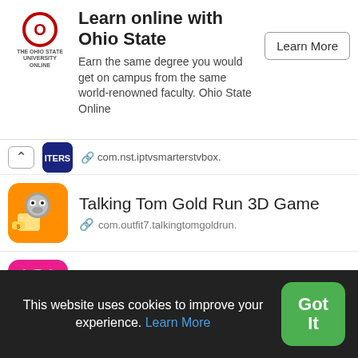[Figure (screenshot): Ohio State University Online advertisement banner with logo, headline 'Learn online with Ohio State', body text, and Learn More button]
com.nst.iptvsmarterstvbox.
Talking Tom Gold Run 3D Game
com.outfit7.talkingtomgoldrun.
My Talking Angela
com.outfit7.mytalkingangelafree.
Best Games Manny Monkey
com.phoneliving.talkingmannymonkeyfree.
This website uses cookies to improve your experience. Learn More